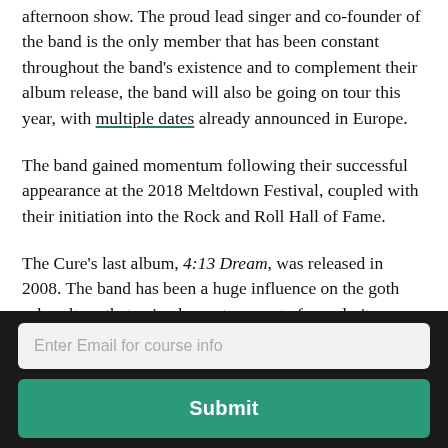afternoon show. The proud lead singer and co-founder of the band is the only member that has been constant throughout the band's existence and to complement their album release, the band will also be going on tour this year, with multiple dates already announced in Europe.
The band gained momentum following their successful appearance at the 2018 Meltdown Festival, coupled with their initiation into the Rock and Roll Hall of Fame.
The Cure's last album, 4:13 Dream, was released in 2008. The band has been a huge influence on the goth sub-culture that gained a vast amount of popularity following